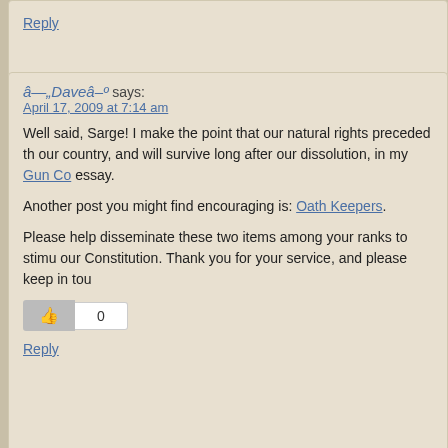Reply
â—„Daveâ–º says:
April 17, 2009 at 7:14 am
Well said, Sarge! I make the point that our natural rights preceded the founding of our country, and will survive long after our dissolution, in my Gun Col essay.
Another post you might find encouraging is: Oath Keepers.
Please help disseminate these two items among your ranks to stimulate support for our Constitution. Thank you for your service, and please keep in touch.
0
Reply
Daedalus says:
April 17, 2009 at 5:22 pm
Dave, in the intelligence analysis:-
(U) A prominent civil rights organization reported in 2006 that â€œlar of potentially violent neo-Nazis, skinheads, and other white suprema